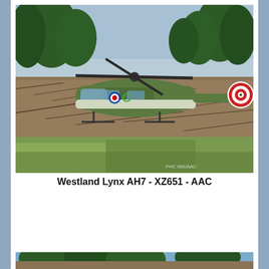[Figure (photo): A Westland Lynx AH7 military helicopter with green camouflage paint and a red/white target roundel on the tail rotor guard, hovering low above a grassy field in front of a background of bare-branched deciduous trees and evergreen conifers. The helicopter designation XZ651 is visible. Photo credit watermark visible in bottom right.]
Westland Lynx AH7 - XZ651 - AAC
[Figure (photo): Partial view of a second helicopter photograph cropped at the bottom of the page, showing trees in the background.]